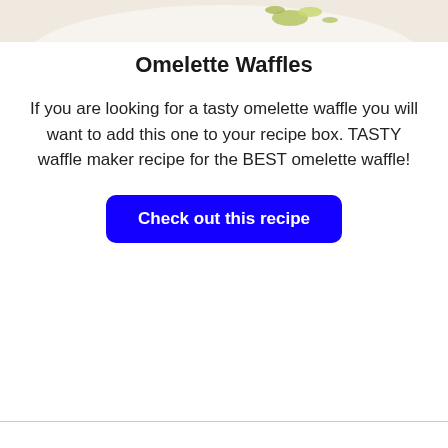[Figure (photo): Partial view of a plate with omelette waffle dish, showing light green garnish or herbs on a white plate background — cropped at top of page]
Omelette Waffles
If you are looking for a tasty omelette waffle you will want to add this one to your recipe box. TASTY waffle maker recipe for the BEST omelette waffle!
[Figure (other): Blue rounded rectangle button with white bold text reading 'Check out this recipe']